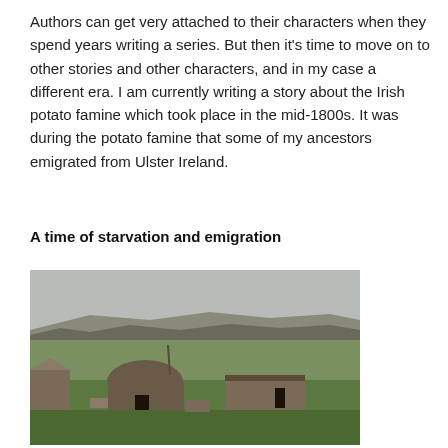Authors can get very attached to their characters when they spend years writing a series. But then it's time to move on to other stories and other characters, and in my case a different era. I am currently writing a story about the Irish potato famine which took place in the mid-1800s. It was during the potato famine that some of my ancestors emigrated from Ulster Ireland.
A time of starvation and emigration
[Figure (photo): Outdoor photograph of ruined stone buildings or shelters on a green hillside landscape with rocky terrain and an overcast sky in the background.]